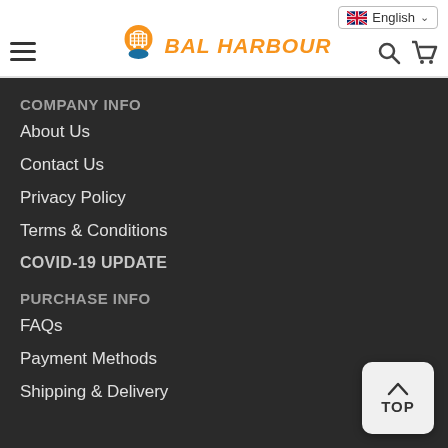BAL HARBOUR — navigation header with hamburger menu, logo, language selector (English), search and cart icons
COMPANY INFO
About Us
Contact Us
Privacy Policy
Terms & Conditions
COVID-19 UPDATE
PURCHASE INFO
FAQs
Payment Methods
Shipping & Delivery